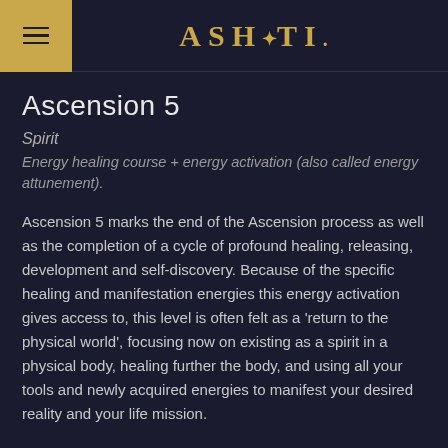ASHATI.
Ascension 5
Spirit
Energy healing course + energy activation (also called energy attunement).
Ascension 5 marks the end of the Ascension process as well as the completion of a cycle of profound healing, releasing, development and self-discovery. Because of the specific healing and manifestation energies this energy activation gives access to, this level is often felt as a ‘return to the physical world’, focusing now on existing as a spirit in a physical body, healing further the body, and using all your tools and newly acquired energies to manifest your desired reality and your life mission.